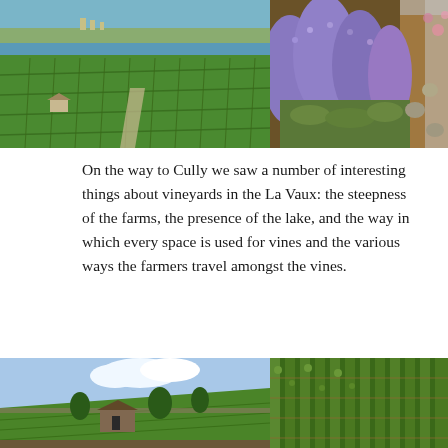[Figure (photo): Two side-by-side photographs: left shows terraced vineyard slopes of La Vaux with a lake visible in the background and a hillside village; right shows a garden path lined with blooming purple lavender bushes.]
On the way to Cully we saw a number of interesting things about vineyards in the La Vaux: the steepness of the farms, the presence of the lake, and the way in which every space is used for vines and the various ways the farmers travel amongst the vines.
[Figure (photo): Two side-by-side photographs: left shows steep terraced vineyard hillside with a stone farm building in the middle; right shows closely planted grapevines on a steep hillside.]